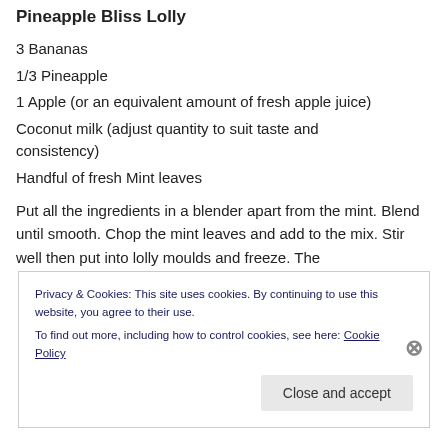Pineapple Bliss Lolly
3 Bananas
1/3 Pineapple
1 Apple (or an equivalent amount of fresh apple juice)
Coconut milk (adjust quantity to suit taste and consistency)
Handful of fresh Mint leaves
Put all the ingredients in a blender apart from the mint. Blend until smooth. Chop the mint leaves and add to the mix. Stir well then put into lolly moulds and freeze. The
Privacy & Cookies: This site uses cookies. By continuing to use this website, you agree to their use.
To find out more, including how to control cookies, see here: Cookie Policy